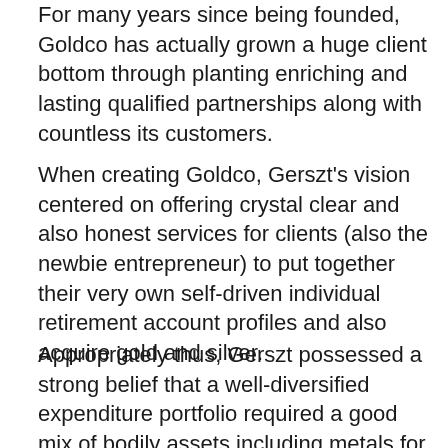For many years since being founded, Goldco has actually grown a huge client bottom through planting enriching and lasting qualified partnerships along with countless its customers.
When creating Goldco, Gerszt's vision centered on offering crystal clear and also honest services for clients (also the newbie entrepreneur) to put together their very own self-driven individual retirement account profiles and also acquire gold and silver.
Appropriately thus, Gerszt possessed a strong belief that a well-diversified expenditure portfolio required a good mix of bodily assets including metals for added security and security coming from political